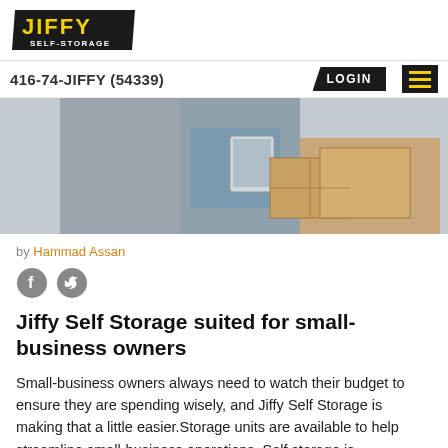[Figure (logo): Jiffy Self-Storage logo with yellow text on black background]
416-74-JIFFY (54339)   LOGIN
[Figure (photo): Person holding a tablet standing near cardboard moving boxes]
by Hammad Assan
[Figure (other): Facebook and Twitter social share icons]
Jiffy Self Storage suited for small-business owners
Small-business owners always need to watch their budget to ensure they are spending wisely, and Jiffy Self Storage is making that a little easier.Storage units are available to help streamline small-business operations. Self storage is…